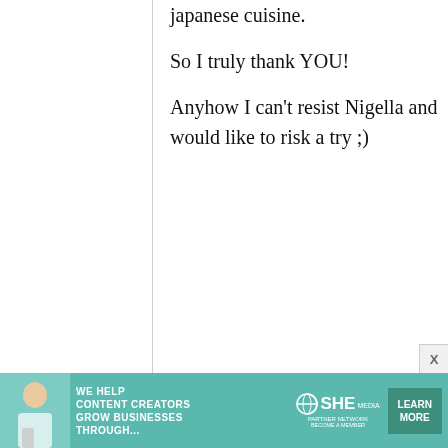japanese cuisine.

So I truly thank YOU!

Anyhow I can't resist Nigella and would like to risk a try ;)
Eric Hill
1 December, 2008 - 17:41
permalink
Name: Eric
Location:
United
Name: Eric
[Figure (infographic): SHE Media Partner Network advertisement banner with text: WE HELP CONTENT CREATORS GROW BUSINESSES THROUGH... with LEARN MORE button]